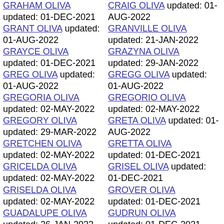GRAHAM OLIVA updated: 01-DEC-2021
GRANT OLIVA updated: 01-AUG-2022
GRAYCE OLIVA updated: 01-DEC-2021
GREG OLIVA updated: 01-AUG-2022
GREGORIA OLIVA updated: 02-MAY-2022
GREGORY OLIVA updated: 29-MAR-2022
GRETCHEN OLIVA updated: 02-MAY-2022
GRICELDA OLIVA updated: 02-MAY-2022
GRISELDA OLIVA updated: 02-MAY-2022
GUADALUPE OLIVA updated: 26-JAN-2022
CRAIG OLIVA updated: 01-AUG-2022
GRANVILLE OLIVA updated: 21-JAN-2022
GRAZYNA OLIVA updated: 29-JAN-2022
GREGG OLIVA updated: 01-AUG-2022
GREGORIO OLIVA updated: 02-MAY-2022
GRETA OLIVA updated: 01-AUG-2022
GRETTA OLIVA updated: 01-DEC-2021
GRISEL OLIVA updated: 01-DEC-2021
GROVER OLIVA updated: 01-DEC-2021
GUDRUN OLIVA updated: 01-DEC-2021